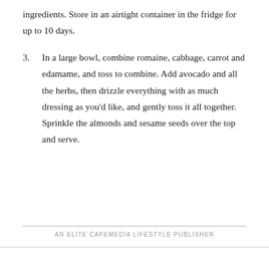ingredients. Store in an airtight container in the fridge for up to 10 days.
3. In a large bowl, combine romaine, cabbage, carrot and edamame, and toss to combine. Add avocado and all the herbs, then drizzle everything with as much dressing as you'd like, and gently toss it all together. Sprinkle the almonds and sesame seeds over the top and serve.
AN ELITE CAFEMEDIA LIFESTYLE PUBLISHER